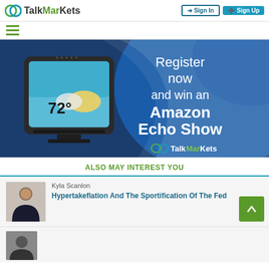TalkMarkets — Sign In | Sign Up
[Figure (screenshot): Navigation bar with TalkMarkets logo, Sign In and Sign Up buttons]
[Figure (photo): Advertisement banner: Amazon Echo Show device showing 72° weather. Text: Register now and win an Amazon Echo Show. TalkMarkets logo.]
ALSO MAY INTEREST YOU
[Figure (photo): Profile photo thumbnail of Kyla Scanlon]
Kyla Scanlon
Hypertakeflation And The Sportification Of The Fed